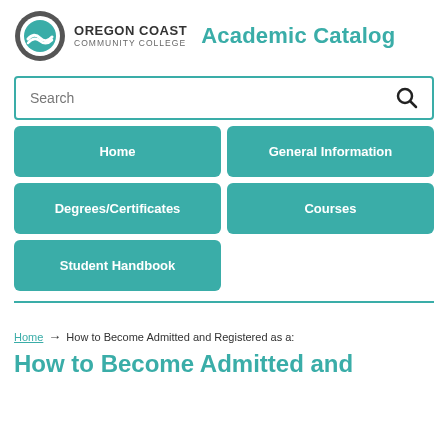[Figure (logo): Oregon Coast Community College logo with circular wave graphic and college name text]
Academic Catalog
Search
Home
General Information
Degrees/Certificates
Courses
Student Handbook
Home → How to Become Admitted and Registered as a:
How to Become Admitted and